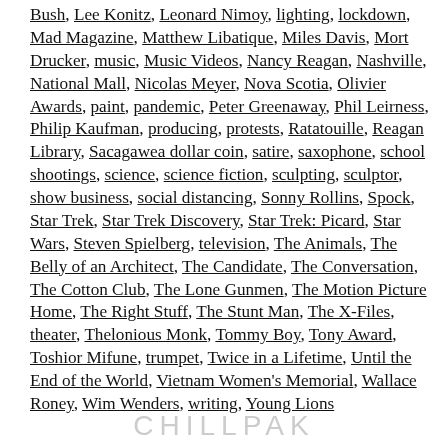Bush, Lee Konitz, Leonard Nimoy, lighting, lockdown, Mad Magazine, Matthew Libatique, Miles Davis, Mort Drucker, music, Music Videos, Nancy Reagan, Nashville, National Mall, Nicolas Meyer, Nova Scotia, Olivier Awards, paint, pandemic, Peter Greenaway, Phil Leirness, Philip Kaufman, producing, protests, Ratatouille, Reagan Library, Sacagawea dollar coin, satire, saxophone, school shootings, science, science fiction, sculpting, sculptor, show business, social distancing, Sonny Rollins, Spock, Star Trek, Star Trek Discovery, Star Trek: Picard, Star Wars, Steven Spielberg, television, The Animals, The Belly of an Architect, The Candidate, The Conversation, The Cotton Club, The Lone Gunmen, The Motion Picture Home, The Right Stuff, The Stunt Man, The X-Files, theater, Thelonious Monk, Tommy Boy, Tony Award, Toshior Mifune, trumpet, Twice in a Lifetime, Until the End of the World, Vietnam Women's Memorial, Wallace Roney, Wim Wenders, writing, Young Lions
CHILLPAK